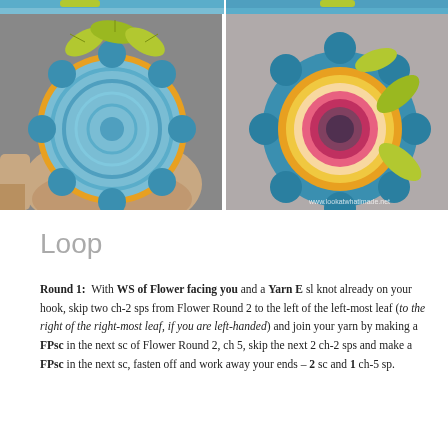[Figure (photo): Two crochet flower photos side by side. Left photo shows the wrong side (WS) of a blue crochet flower with yellow-green leaves held in a hand. Right photo shows the right side (RS) of the same flower flat on a surface, with colorful concentric rings visible and green leaves. Watermark: www.lookatwhatimade.net]
Loop
Round 1:  With WS of Flower facing you and a Yarn E sl knot already on your hook, skip two ch-2 sps from Flower Round 2 to the left of the left-most leaf (to the right of the right-most leaf, if you are left-handed) and join your yarn by making a FPsc in the next sc of Flower Round 2, ch 5, skip the next 2 ch-2 sps and make a FPsc in the next sc, fasten off and work away your ends – 2 sc and 1 ch-5 sp.